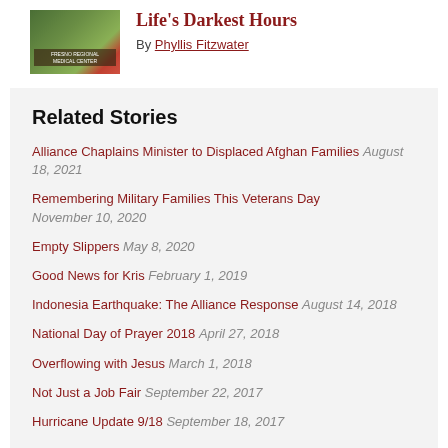[Figure (photo): Thumbnail photo of a building sign for a regional medical center with trees and red flowers in the foreground]
Life's Darkest Hours
By Phyllis Fitzwater
Related Stories
Alliance Chaplains Minister to Displaced Afghan Families  August 18, 2021
Remembering Military Families This Veterans Day  November 10, 2020
Empty Slippers  May 8, 2020
Good News for Kris  February 1, 2019
Indonesia Earthquake: The Alliance Response  August 14, 2018
National Day of Prayer 2018  April 27, 2018
Overflowing with Jesus  March 1, 2018
Not Just a Job Fair  September 22, 2017
Hurricane Update 9/18  September 18, 2017